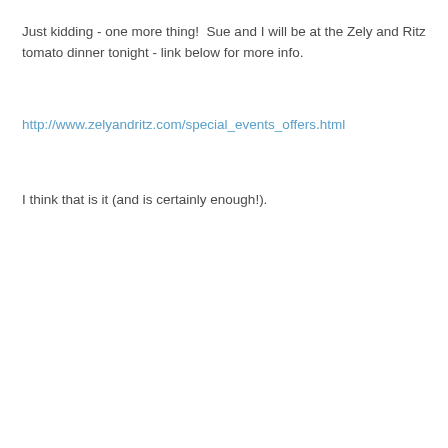Just kidding - one more thing!  Sue and I will be at the Zely and Ritz tomato dinner tonight - link below for more info.
http://www.zelyandritz.com/special_events_offers.html
I think that is it (and is certainly enough!).